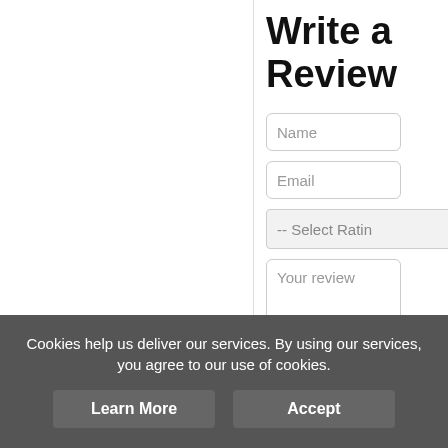[Figure (infographic): Social share buttons: Facebook (blue), Twitter (light blue), Pinterest (red), Tumblr (dark blue-gray), and a share/add button (blue). Displayed as a vertical stack of rounded square icon buttons on the left side.]
Write a Review
Name
Email
-- Select Rating
Your review
Cookies help us deliver our services. By using our services, you agree to our use of cookies.
Learn More
Accept